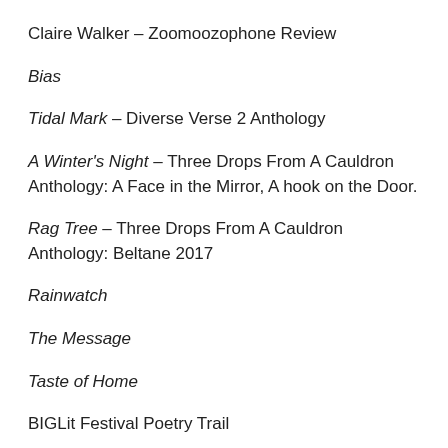Claire Walker – Zoomoozophone Review
Bias
Tidal Mark – Diverse Verse 2 Anthology
A Winter's Night – Three Drops From A Cauldron Anthology: A Face in the Mirror, A hook on the Door.
Rag Tree – Three Drops From A Cauldron Anthology: Beltane 2017
Rainwatch
The Message
Taste of Home
BIGLit Festival Poetry Trail